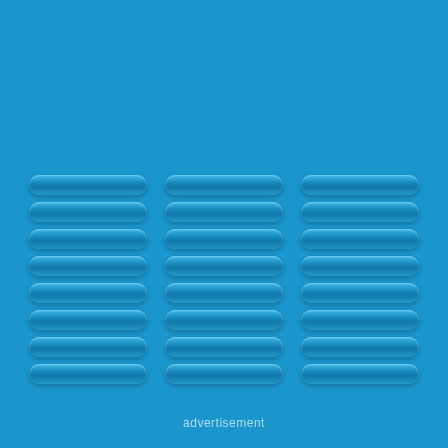[Figure (logo): IBM-style logo on blue background: three columns of eight horizontal rounded bars (pill shapes) in a slightly darker blue with glossy highlight, arranged in a 3x8 grid pattern on a bright blue (#1a96cc) background.]
advertisement